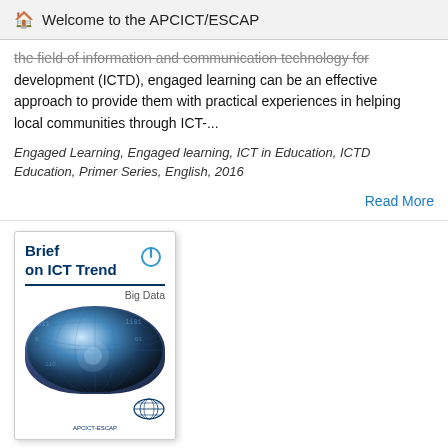Welcome to the APCICT/ESCAP
the field of information and communication technology for development (ICTD), engaged learning can be an effective approach to provide them with practical experiences in helping local communities through ICT-...
Engaged Learning, Engaged learning, ICT in Education, ICTD Education, Primer Series, English, 2016
Read More
[Figure (photo): Book cover of 'Brief on ICT Trend - Big Data' published by APCICT/ESCAP, with a digital globe image and UN logo]
Brief on ICT Trend "Big Data"